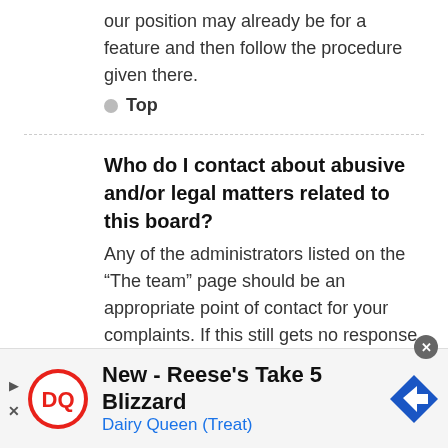our position may already be for a feature and then follow the procedure given there.
Top
Who do I contact about abusive and/or legal matters related to this board?
Any of the administrators listed on the “The team” page should be an appropriate point of contact for your complaints. If this still gets no response then
[Figure (other): Dairy Queen advertisement banner: New - Reese's Take 5 Blizzard, Dairy Queen (Treat)]